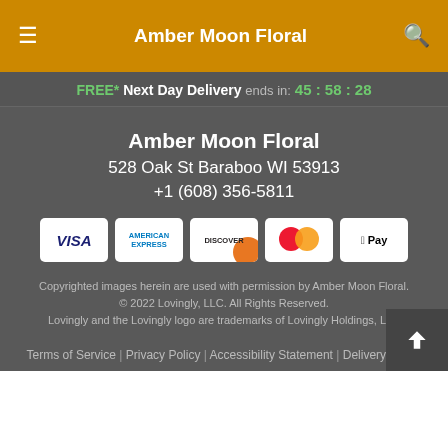Amber Moon Floral
FREE* Next Day Delivery ends in: 45:58:28
Amber Moon Floral
528 Oak St Baraboo WI 53913
+1 (608) 356-5811
[Figure (other): Payment method icons: VISA, American Express, Discover, Mastercard, Apple Pay]
Copyrighted images herein are used with permission by Amber Moon Floral.
© 2022 Lovingly, LLC. All Rights Reserved.
Lovingly and the Lovingly logo are trademarks of Lovingly Holdings, LLC
Terms of Service | Privacy Policy | Accessibility Statement | Delivery Policy